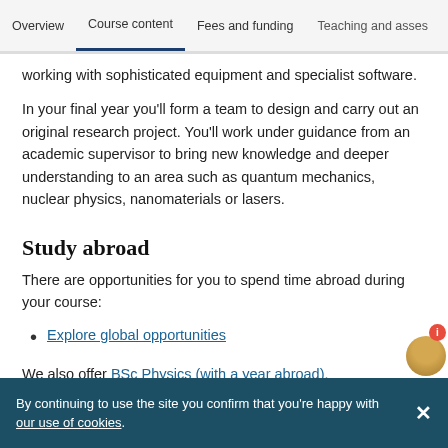Overview | Course content | Fees and funding | Teaching and asses
working with sophisticated equipment and specialist software.
In your final year you'll form a team to design and carry out an original research project. You'll work under guidance from an academic supervisor to bring new knowledge and deeper understanding to an area such as quantum mechanics, nuclear physics, nanomaterials or lasers.
Study abroad
There are opportunities for you to spend time abroad during your course:
Explore global opportunities
We also offer BSc Physics (with a year abroad).
By continuing to use the site you confirm that you're happy with our use of cookies.